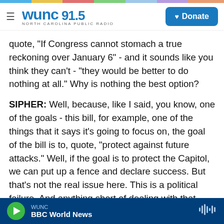[Figure (screenshot): WUNC 91.5 North Carolina Public Radio website header with hamburger menu, logo, and blue Donate button]
quote, "If Congress cannot stomach a true reckoning over January 6" - and it sounds like you think they can't - "they would be better to do nothing at all." Why is nothing the best option?
SIPHER: Well, because, like I said, you know, one of the goals - this bill, for example, one of the things that it says it's going to focus on, the goal of the bill is to, quote, "protect against future attacks." Well, if the goal is to protect the Capitol, we can put up a fence and declare success. But that's not the real issue here. This is a political failure. And anything short of dealing with that political failure is going to
WUNC   BBC World News